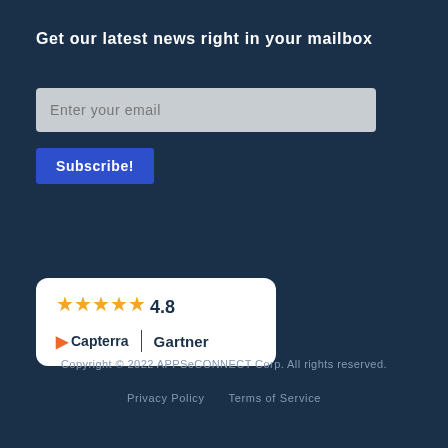Get our latest news right in your mailbox
Enter your email
Subscribe!
[Figure (other): Rating card showing 4.8 stars with Capterra and Gartner logos]
Copyright © 2022 APPSeCONNECT Corp. All rights reserved.
Privacy Policy   Terms of Service